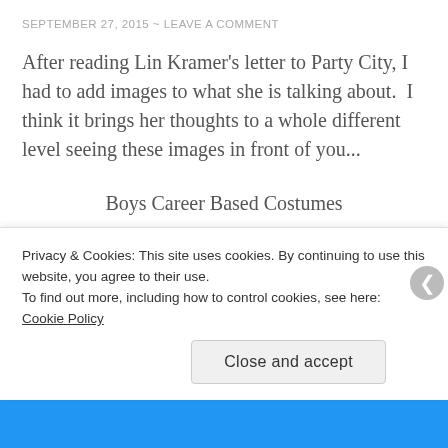SEPTEMBER 27, 2015 ~ LEAVE A COMMENT
After reading Lin Kramer's letter to Party City, I had to add images to what she is talking about.  I think it brings her thoughts to a whole different level seeing these images in front of you...
Boys Career Based Costumes
Classic Toddler Section
[Figure (photo): Two partially visible costume product images at the bottom of the page]
Privacy & Cookies: This site uses cookies. By continuing to use this website, you agree to their use.
To find out more, including how to control cookies, see here: Cookie Policy
Close and accept